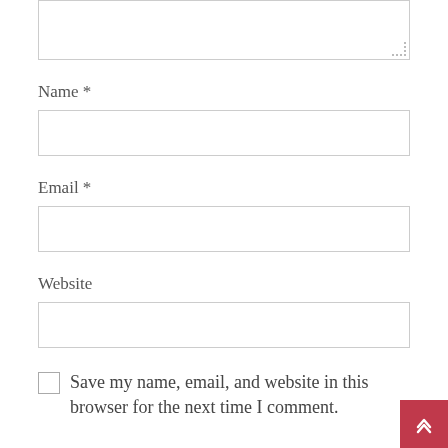[Figure (screenshot): Partial textarea form field at top of page, cut off]
Name *
[Figure (screenshot): Name input text field]
Email *
[Figure (screenshot): Email input text field]
Website
[Figure (screenshot): Website input text field]
Save my name, email, and website in this browser for the next time I comment.